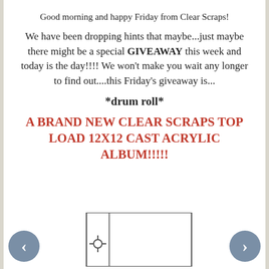Good morning and happy Friday from Clear Scraps!
We have been dropping hints that maybe...just maybe there might be a special GIVEAWAY this week and today is the day!!!! We won't make you wait any longer to find out....this Friday's giveaway is...
*drum roll*
A BRAND NEW CLEAR SCRAPS TOP LOAD 12X12 CAST ACRYLIC ALBUM!!!!!
[Figure (illustration): Partial view of a clear acrylic album with a ring binding mechanism visible at the bottom of the page]